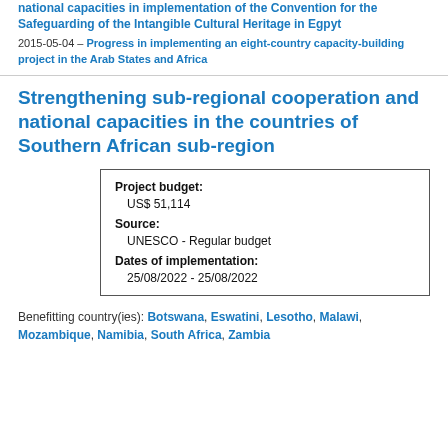national capacities in implementation of the Convention for the Safeguarding of the Intangible Cultural Heritage in Egpyt
2015-05-04 – Progress in implementing an eight-country capacity-building project in the Arab States and Africa
Strengthening sub-regional cooperation and national capacities in the countries of Southern African sub-region
| Project budget: | US$ 51,114 |
| Source: | UNESCO - Regular budget |
| Dates of implementation: | 25/08/2022 - 25/08/2022 |
Benefitting country(ies): Botswana, Eswatini, Lesotho, Malawi, Mozambique, Namibia, South Africa, Zambia